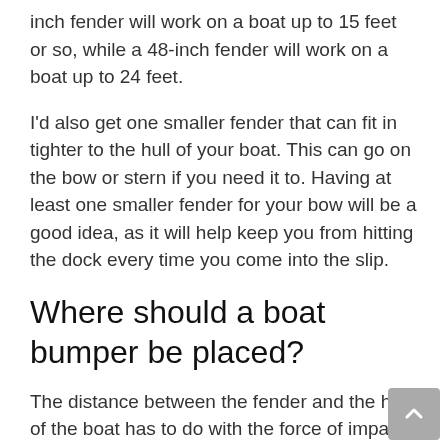inch fender will work on a boat up to 15 feet or so, while a 48-inch fender will work on a boat up to 24 feet.
I’d also get one smaller fender that can fit in tighter to the hull of your boat. This can go on the bow or stern if you need it to. Having at least one smaller fender for your bow will be a good idea, as it will help keep you from hitting the dock every time you come into the slip.
Where should a boat bumper be placed?
The distance between the fender and the hull of the boat has to do with the force of impact in relation to the size of the fender. A